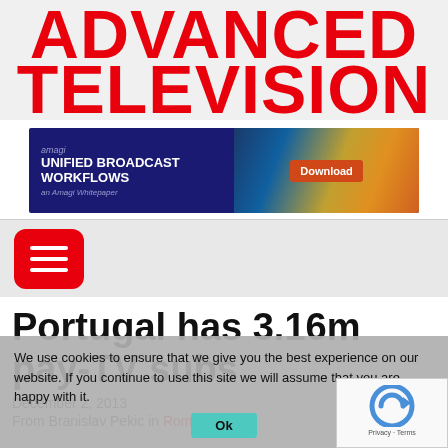ADVANCED TELEVISION
[Figure (infographic): Amagi advertisement banner: UNIFIED BROADCAST WORKFLOWS - an Amagi Whitepaper, with Download button, dark blue background with colorful city lights image on right]
[Figure (other): Red rounded square hamburger/menu icon button with three white horizontal lines]
Portugal has 3.16m pay-TV subs
December 2, 2013
From Branislav Pekic in Rome
We use cookies to ensure that we give you the best experience on our website. If you continue to use this site we will assume that you are happy with it.
Ok